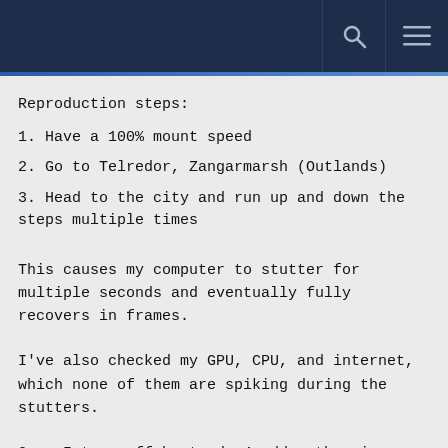Reproduction steps:
1. Have a 100% mount speed
2. Go to Telredor, Zangarmarsh (Outlands)
3. Head to the city and run up and down the steps multiple times
This causes my computer to stutter for multiple seconds and eventually fully recovers in frames.
I've also checked my GPU, CPU, and internet, which none of them are spiking during the stutters.
Once I turn off bartender4 addon the micro stutters